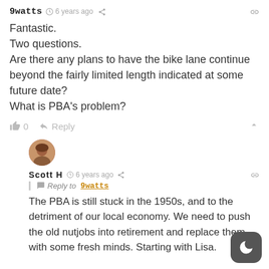9watts  6 years ago
Fantastic.
Two questions.
Are there any plans to have the bike lane continue beyond the fairly limited length indicated at some future date?
What is PBA's problem?
0  Reply
[Figure (photo): Circular avatar photo of Scott H, showing a person with brown hair]
Scott H  6 years ago
Reply to 9watts
The PBA is still stuck in the 1950s, and to the detriment of our local economy. We need to push the old nutjobs into retirement and replace them with some fresh minds. Starting with Lisa.